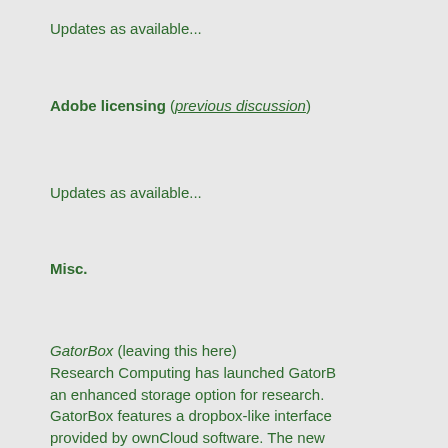Updates as available...
Adobe licensing (previous discussion)
Updates as available...
Misc.
GatorBox (leaving this here)
Research Computing has launched GatorBox, an enhanced storage option for research. GatorBox features a dropbox-like interface provided by ownCloud software. The new interface offers a convenient and familiar interface as well as desktop and mobile clients with simple file sync and share functionality. Please contact Research Computing for more information about GatorBox: info@hpc.ufl.e
Peer2Peer:
Peer 2 Peer can be viewed online. I wasn't for it, so maybe someone can give us a rev